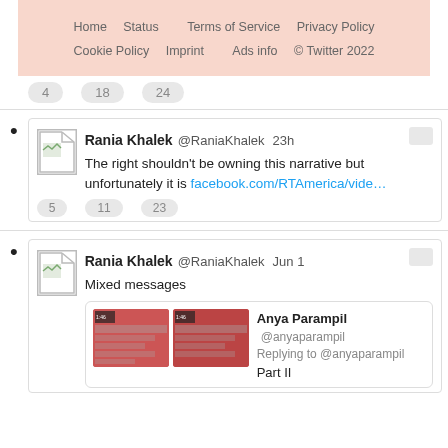[Figure (screenshot): Twitter footer links section with salmon/pink background showing Home, Status, Terms of Service, Privacy Policy, Cookie Policy, Imprint, Ads info, © Twitter 2022]
4  18  24
Rania Khalek @RaniaKhalek 23h — The right shouldn't be owning this narrative but unfortunately it is facebook.com/RTAmerica/vide…
5  11  23
Rania Khalek @RaniaKhalek Jun 1 — Mixed messages
Anya Parampil @anyaparampil Replying to @anyaparampil Part II